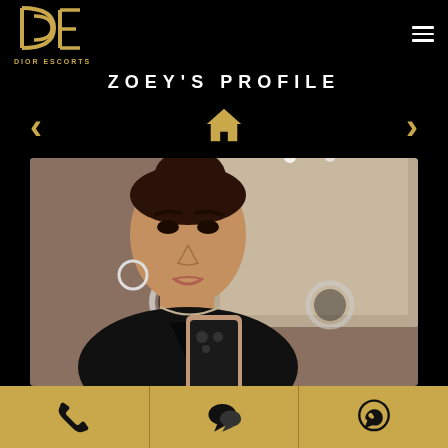[Figure (logo): Dior Escorts logo — stylized D and E letters in gold with DIOR ESCORTS text below]
ZOEY'S PROFILE
[Figure (photo): Woman taking a mirror selfie in a bathroom, wearing a black top, with ring lights visible in background]
Phone | Chat | WhatsApp action buttons